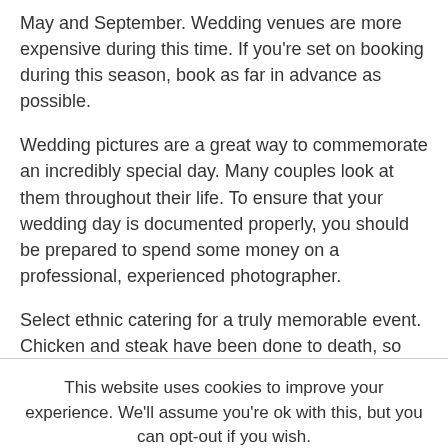May and September. Wedding venues are more expensive during this time. If you're set on booking during this season, book as far in advance as possible.
Wedding pictures are a great way to commemorate an incredibly special day. Many couples look at them throughout their life. To ensure that your wedding day is documented properly, you should be prepared to spend some money on a professional, experienced photographer.
Select ethnic catering for a truly memorable event. Chicken and steak have been done to death, so you may want to branch out a little. Ethnic foods and decor will help your reception be memorable.
This website uses cookies to improve your experience. We'll assume you're ok with this, but you can opt-out if you wish.
Accept   Read More